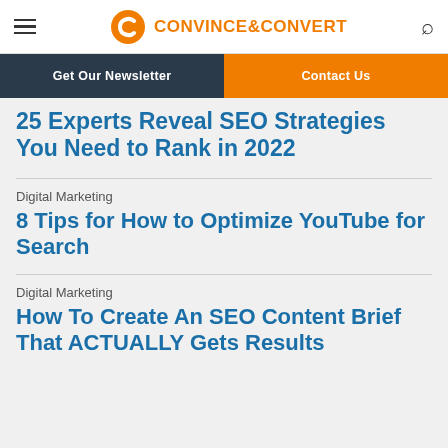CONVINCE&CONVERT
Get Our Newsletter | Contact Us
25 Experts Reveal SEO Strategies You Need to Rank in 2022
Digital Marketing
8 Tips for How to Optimize YouTube for Search
Digital Marketing
How To Create An SEO Content Brief That ACTUALLY Gets Results